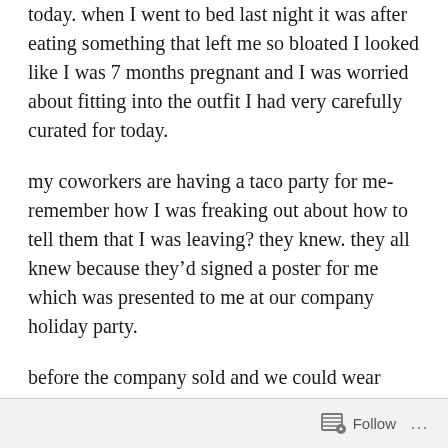today. when I went to bed last night it was after eating something that left me so bloated I looked like I was 7 months pregnant and I was worried about fitting into the outfit I had very carefully curated for today.
my coworkers are having a taco party for me- remember how I was freaking out about how to tell them that I was leaving? they knew. they all knew because they'd signed a poster for me which was presented to me at our company holiday party.
before the company sold and we could wear jeans to work this outfit would have been a solid go-to for me, I love jeans and blazers. I'd like to dress like Samantha Bee every day.
Follow